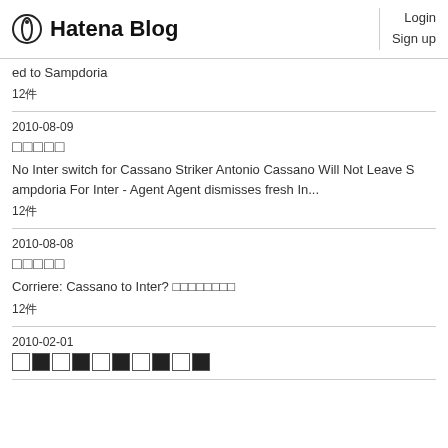Hatena Blog  Login  Sign up
ed to Sampdoria
12件
2010-08-09
□□□□□
No Inter switch for Cassano Striker Antonio Cassano Will Not Leave Sampdoria For Inter - Agent Agent dismisses fresh In...
12件
2010-08-08
□□□□□
Corriere: Cassano to Inter? □□□□□□□□
12件
2010-02-01
[Figure (other): A row of alternating white and black squares]